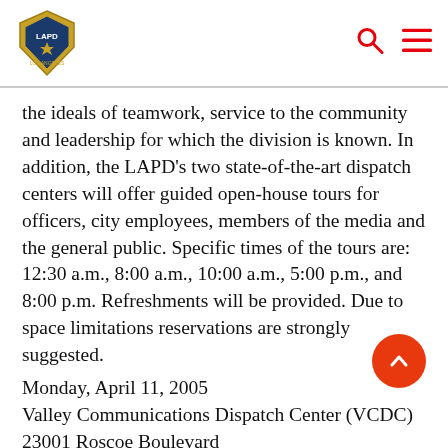LAPD logo, search icon, menu icon
the ideals of teamwork, service to the community and leadership for which the division is known. In addition, the LAPD's two state-of-the-art dispatch centers will offer guided open-house tours for officers, city employees, members of the media and the general public. Specific times of the tours are: 12:30 a.m., 8:00 a.m., 10:00 a.m., 5:00 p.m., and 8:00 p.m. Refreshments will be provided. Due to space limitations reservations are strongly suggested.
Monday, April 11, 2005
Valley Communications Dispatch Center (VCDC)
23001 Roscoe Boulevard
West Hills, CA 91304
Tuesday, April 12, 2005